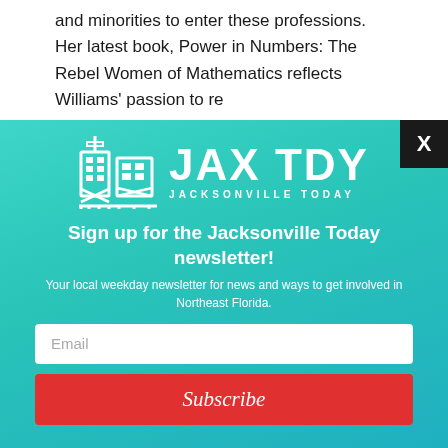and minorities to enter these professions. Her latest book, Power in Numbers: The Rebel Women of Mathematics reflects Williams' passion to re
[Figure (logo): JAX TDY Jacksonville Today logo — white building/tower icons on teal background with large white bold JAX TDY text and JACKSONVILLE TODAY subtitle]
Sign up for the Jacksonville Today newsletter!
Your local weekday newsletter for news and ways to get involved in Northeast Florida.
Email
Subscribe